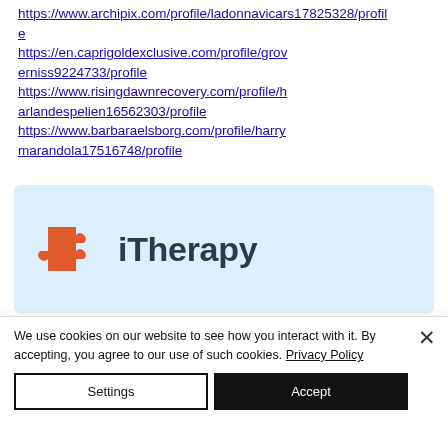https://www.archipix.com/profile/ladonnavicars17825328/profile https://en.caprigoldexclusive.com/profile/groverniss9224733/profile https://www.risingdawnrecovery.com/profile/harlandespelien16562303/profile https://www.barbaraelsborg.com/profile/harrymarandola17516748/profile
[Figure (logo): iTherapy logo with orange puzzle piece icon and text 'iTherapy' on light blue background]
We use cookies on our website to see how you interact with it. By accepting, you agree to our use of such cookies. Privacy Policy
Settings
Accept